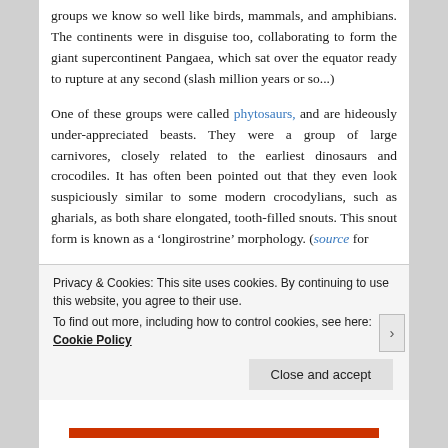groups we know so well like birds, mammals, and amphibians. The continents were in disguise too, collaborating to form the giant supercontinent Pangaea, which sat over the equator ready to rupture at any second (slash million years or so...)
One of these groups were called phytosaurs, and are hideously under-appreciated beasts. They were a group of large carnivores, closely related to the earliest dinosaurs and crocodiles. It has often been pointed out that they even look suspiciously similar to some modern crocodylians, such as gharials, as both share elongated, tooth-filled snouts. This snout form is known as a 'longirostrine' morphology. (source for
Privacy & Cookies: This site uses cookies. By continuing to use this website, you agree to their use.
To find out more, including how to control cookies, see here: Cookie Policy